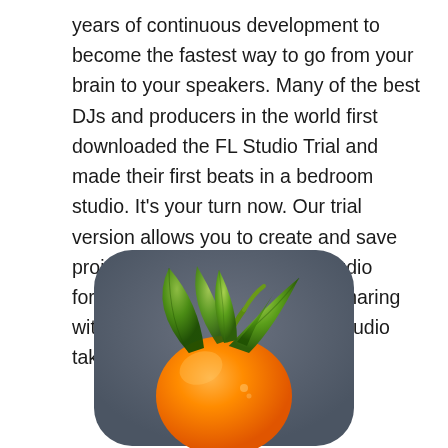years of continuous development to become the fastest way to go from your brain to your speakers. Many of the best DJs and producers in the world first downloaded the FL Studio Trial and made their first beats in a bedroom studio. It's your turn now. Our trial version allows you to create and save projects, then export them to audio formats like MP3 and WAV for sharing with the world. How far will FL Studio take you?
[Figure (illustration): FL Studio app icon showing a 3D orange fruit with green leaves on a rounded dark grey square background]